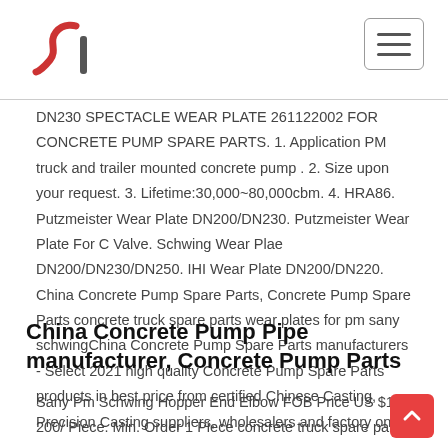DN230 SPECTACLE WEAR PLATE 261122002 FOR CONCRETE PUMP SPARE PARTS. 1. Application PM truck and trailer mounted concrete pump . 2. Size upon your request. 3. Lifetime:30,000~80,000cbm. 4. HRA86. Putzmeister Wear Plate DN200/DN230. Putzmeister Wear Plate For C Valve. Schwing Wear Plae DN200/DN230/DN250. IHI Wear Plate DN200/DN220. China Concrete Pump Spare Parts, Concrete Pump Spare Parts concrete truck spare parts wear plates for pm sany schwingChina Concrete Pump Spare Parts manufacturers - Select 2021 high quality Concrete Pump Spare Parts products in best price from certified Chinese Casting, Precision Casting suppliers, wholesalers and factory on
China Concrete Pump Pipe manufacturer, Concrete Pump Parts
Sany Pm Schwing Hopper End Elbow FOB Price US $15-200/ Piece. Min. Order 1 Piece concrete truck spare parts wear